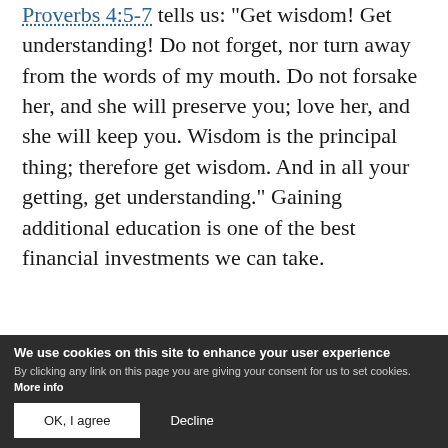Proverbs 4:5-7 tells us: "Get wisdom! Get understanding! Do not forget, nor turn away from the words of my mouth. Do not forsake her, and she will preserve you; love her, and she will keep you. Wisdom is the principal thing; therefore get wisdom. And in all your getting, get understanding." Gaining additional education is one of the best financial investments we can take.
Proverbs 24:27 similarly advises: "Prepare your outside work, make it fit for yourself in the field; and afterward build your house." In other words, prepare yourself with the resources to make a living—through education and job training—before
We use cookies on this site to enhance your user experience
By clicking any link on this page you are giving your consent for us to set cookies. More info
OK, I agree   Decline